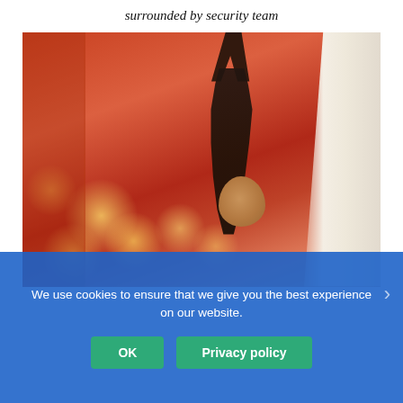surrounded by security team
[Figure (photo): A person in dark clothing hanging upside down or being held by their wrists from above, in a warm orange-lit interior space with white architectural details and ceiling lights visible in background.]
We use cookies to ensure that we give you the best experience on our website.
OK   Privacy policy